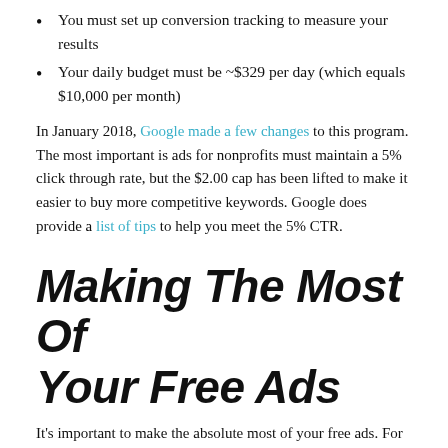You must set up conversion tracking to measure your results
Your daily budget must be ~$329 per day (which equals $10,000 per month)
In January 2018, Google made a few changes to this program. The most important is ads for nonprofits must maintain a 5% click through rate, but the $2.00 cap has been lifted to make it easier to buy more competitive keywords. Google does provide a list of tips to help you meet the 5% CTR.
Making The Most Of Your Free Ads
It's important to make the absolute most of your free ads. For instance, use geo-targeting to ensure your ads are appearing when people search from or for specific locations. Get creative with your ad copy so it attracts more